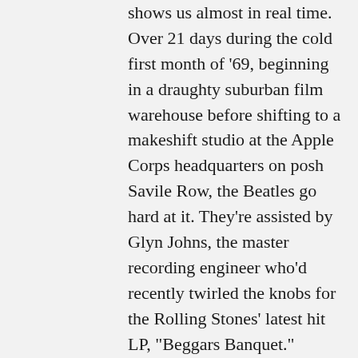shows us almost in real time.  Over 21 days during the cold first month of '69, beginning in a draughty suburban film warehouse before shifting to a makeshift studio at the Apple Corps headquarters on posh Savile Row, the Beatles go hard at it. They're assisted by Glyn Johns, the master recording engineer who'd recently twirled the knobs for the Rolling Stones' latest hit LP, "Beggars Banquet."
The plan is for the Beatles to write and then perform on TV their new album by the end of the month, making what will be their first live concert in more than two years. They later scrap the show and begin...